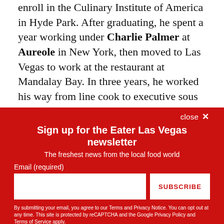enroll in the Culinary Institute of America in Hyde Park. After graduating, he spent a year working under Charlie Palmer at Aureole in New York, then moved to Las Vegas to work at the restaurant at Mandalay Bay. In three years, he worked his way from line cook to executive sous chef. In 2003, Palmer offered Blandino the chef de cuisine job at Charlie Palmer Steak at the Four Seasons Las Vegas, where he currently works. Of note, while Blandino is a chef at a
close ×
Sign up for the Eater Las Vegas newsletter
The freshest news from the local food world
Email (required)
SUBSCRIBE
By submitting your email, you agree to our Terms and Privacy Notice. You can opt out at any time. This site is protected by reCAPTCHA and the Google Privacy Policy and Terms of Service apply.